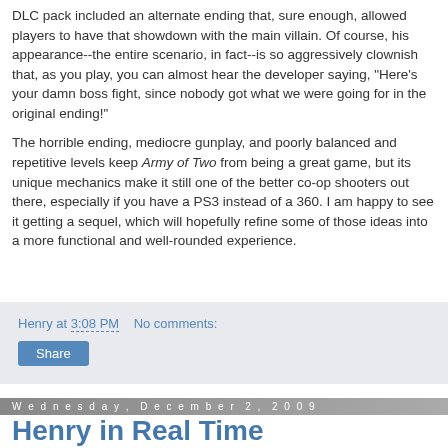DLC pack included an alternate ending that, sure enough, allowed players to have that showdown with the main villain. Of course, his appearance--the entire scenario, in fact--is so aggressively clownish that, as you play, you can almost hear the developer saying, "Here's your damn boss fight, since nobody got what we were going for in the original ending!"
The horrible ending, mediocre gunplay, and poorly balanced and repetitive levels keep Army of Two from being a great game, but its unique mechanics make it still one of the better co-op shooters out there, especially if you have a PS3 instead of a 360. I am happy to see it getting a sequel, which will hopefully refine some of those ideas into a more functional and well-rounded experience.
Henry at 3:08 PM   No comments:
Share
Wednesday, December 2, 2009
Henry in Real Time